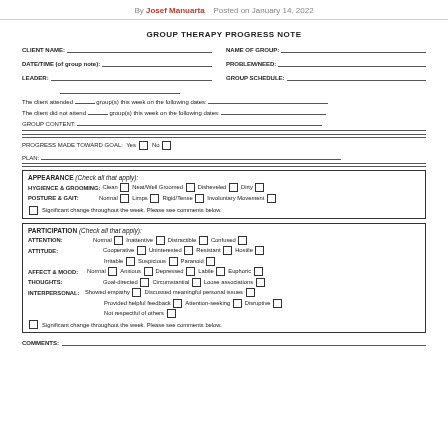By Josef Manuarta   Posted on January 14, 2022
GROUP THERAPY PROGRESS NOTE
CLIENT NAME: ___ NAME OF GROUP: ___
DATE/TIME (of group note): ___ PROBLEM/NEED: ___
LEADER: ___ GROUP SCHEDULE: ___
The client attended ___ group(s) this week on the following dates: ___
The client did not attend ___ group(s) this week on the following dates: ___
GROUP CONTENT: ___
PROGRESS MADE TOWARD GOAL: Yes No
PLAN: ___
APPEARANCE (Check all that apply):
HYGIENCE & GROOMING: Clean  Neat/Well Groomed  Disheveled  Dirty
POSTURE & GAIT: Normal  Limps  Rigid/Tense  Involuntary Movement
Significant change throughout the week. Please see comments below.
PARTICIPATION (Check all that apply):
ATTENTION: Normal  Inattentive  Distractible  Confused
ATTITUDE: Cooperative  Uninterested  Resistant  Hostile  Irritable  Suspicious  Paranoid
AFFECT & MOOD: Normal  Anxious  Depressed  Labile  Euphoric
THOUGHTS: Goal-directed  Circumstantial  Loose associations
INTERPERSONAL: Showed empathy  Discussed meaningful personal issues  Provided helpful feedback  Attention-seeking  Disruptive  Not respectful of others
Significant change throughout the week. Please see comments below.
COMMENTS: ___